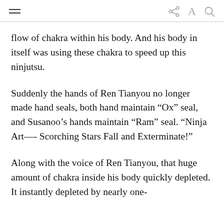[hamburger menu] [share] [font] [search]
flow of chakra within his body. And his body in itself was using these chakra to speed up this ninjutsu.
Suddenly the hands of Ren Tianyou no longer made hand seals, both hand maintain “Ox” seal, and Susanoo’s hands maintain “Ram” seal. “Ninja Art—- Scorching Stars Fall and Exterminate!”
Along with the voice of Ren Tianyou, that huge amount of chakra inside his body quickly depleted. It instantly depleted by nearly one-